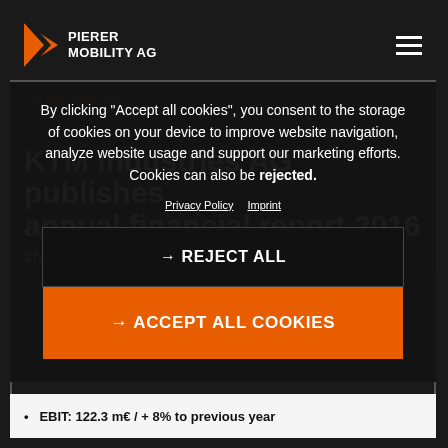PIERER MOBILITY AG
By clicking “Accept all cookies”, you consent to the storage of cookies on your device to improve website navigation, analyze website usage and support our marketing efforts. Cookies can also be rejected.
Privacy Policy  Imprint
→ REJECT ALL
→ ACCEPT ALL COOKIES
< to the News list
KTM Industries AG publishes annual financial report 2016
27.03.2017
EBIT: 122.3 m€ / + 8% to previous year